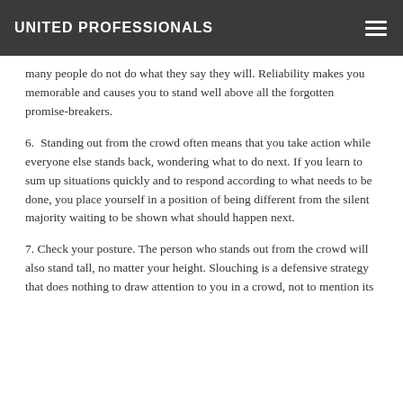UNITED PROFESSIONALS
many people do not do what they say they will. Reliability makes you memorable and causes you to stand well above all the forgotten promise-breakers.
6.  Standing out from the crowd often means that you take action while everyone else stands back, wondering what to do next. If you learn to sum up situations quickly and to respond according to what needs to be done, you place yourself in a position of being different from the silent majority waiting to be shown what should happen next.
7. Check your posture. The person who stands out from the crowd will also stand tall, no matter your height. Slouching is a defensive strategy that does nothing to draw attention to you in a crowd, not to mention its